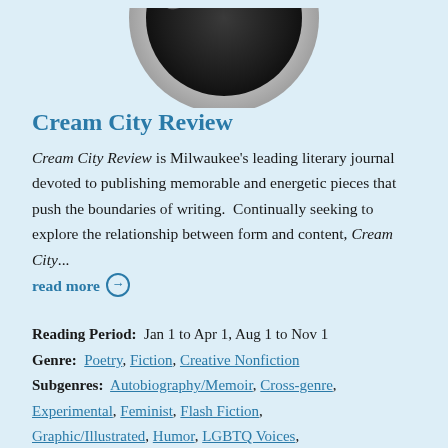[Figure (photo): Partial view of a circular badge or button, cropped at top showing the bottom arc with metallic silver rim and dark center]
Cream City Review
Cream City Review is Milwaukee's leading literary journal devoted to publishing memorable and energetic pieces that push the boundaries of writing. Continually seeking to explore the relationship between form and content, Cream City... read more →
Reading Period: Jan 1 to Apr 1, Aug 1 to Nov 1
Genre: Poetry, Fiction, Creative Nonfiction
Subgenres: Autobiography/Memoir, Cross-genre, Experimental, Feminist, Flash Fiction, Graphic/Illustrated, Humor, LGBTQ Voices,